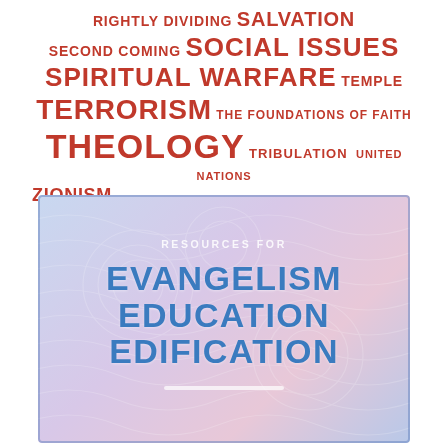RIGHTLY DIVIDING SALVATION SECOND COMING SOCIAL ISSUES SPIRITUAL WARFARE TEMPLE TERRORISM THE FOUNDATIONS OF FAITH THEOLOGY TRIBULATION UNITED NATIONS ZIONISM
[Figure (illustration): Book cover with gradient blue-purple background showing 'RESOURCES FOR EVANGELISM EDUCATION EDIFICATION' with wave pattern overlay and white bar at bottom]